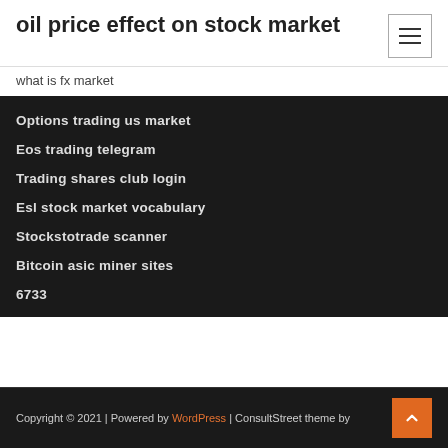oil price effect on stock market
what is fx market
Options trading us market
Eos trading telegram
Trading shares club login
Esl stock market vocabulary
Stockstotrade scanner
Bitcoin asic miner sites
6733
Copyright © 2021 | Powered by WordPress | ConsultStreet theme by